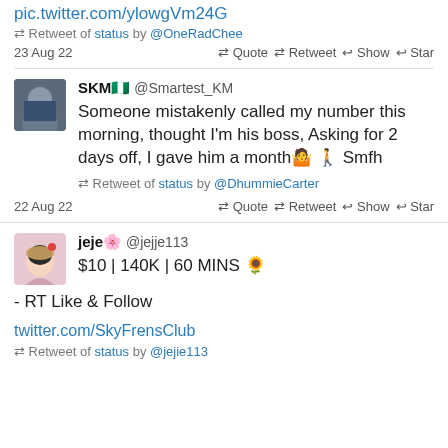pic.twitter.com/ylowgVm24G
Retweet of status by @OneRadChee
23 Aug 22   Quote  Retweet  Show  Star
[Figure (photo): Profile avatar of SKM user, person in blue jacket]
SKM @Smartest_KM
Someone mistakenly called my number this morning, thought I'm his boss, Asking for 2 days off, I gave him a month 🤷 🚶 Smfh
Retweet of status by @DhummieCarter
22 Aug 22   Quote  Retweet  Show  Star
[Figure (illustration): Profile avatar of jeje user, illustrated girl with beret]
jeje🌻 @jejje113
$10 | 140K | 60 MINS 🌻

- RT Like & Follow

twitter.com/SkyFrensClub
Retweet of status by @jejie113